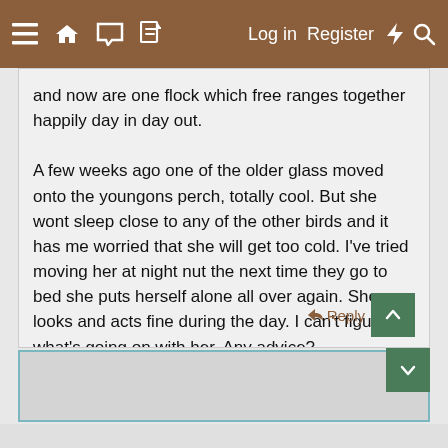≡ 🏠 💬 📄   Log in  Register  ⚡  🔍
and now are one flock which free ranges together happily day in day out.

A few weeks ago one of the older glass moved onto the youngons perch, totally cool. But she wont sleep close to any of the other birds and it has me worried that she will get too cold. I've tried moving her at night nut the next time they go to bed she puts herself alone all over again. She looks and acts fine during the day. I can't figure out what's going on with her. Any advice?
↩ Reply